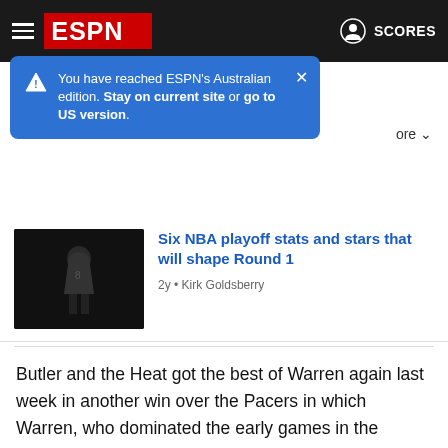ESPN - SCORES
You have reached ESPN's Australian edition. Stay on current site or go to US version.
Six NBA playoff stats and stars that will shape Round 1
2y • Kirk Goldsberry
Butler and the Heat got the best of Warren again last week in another win over the Pacers in which Warren, who dominated the early games in the bubble, was held to just 12 points and went 5-for-14 from the field. Both the Heat and Pacers rested several key players -- including Butler and Warren -- during Friday's Pacers win which clinched the fourth seed for Indiana. Butler said that the Heat's success against the Pacers in the regular season doesn't matter as they go into the postseason.